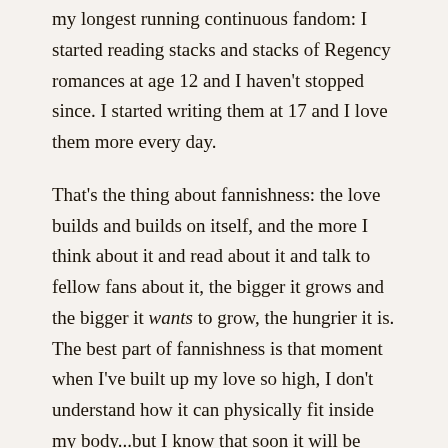my longest running continuous fandom: I started reading stacks and stacks of Regency romances at age 12 and I haven't stopped since. I started writing them at 17 and I love them more every day.
That's the thing about fannishness: the love builds and builds on itself, and the more I think about it and read about it and talk to fellow fans about it, the bigger it grows and the bigger it wants to grow, the hungrier it is. The best part of fannishness is that moment when I've built up my love so high, I don't understand how it can physically fit inside my body...but I know that soon it will be even bigger. Fannishness is like getting to fall in love, over and over again–sometimes with a celebrity or a character, sometimes with a story or a world or an idea or an author.
I want people to feel that way about my books. I want to